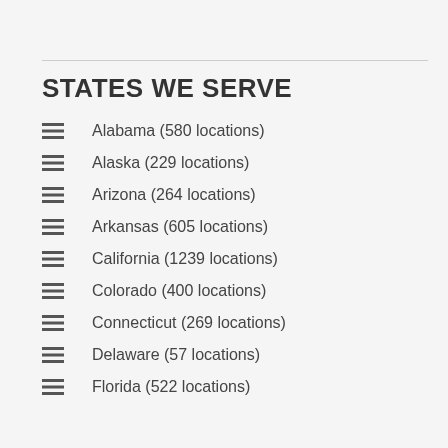STATES WE SERVE
Alabama (580 locations)
Alaska (229 locations)
Arizona (264 locations)
Arkansas (605 locations)
California (1239 locations)
Colorado (400 locations)
Connecticut (269 locations)
Delaware (57 locations)
Florida (522 locations)